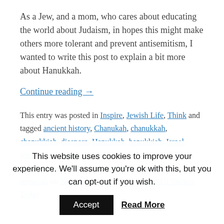As a Jew, and a mom, who cares about educating the world about Judaism, in hopes this might make others more tolerant and prevent antisemitism, I wanted to write this post to explain a bit more about Hanukkah.
Continue reading →
This entry was posted in Inspire, Jewish Life, Think and tagged ancient history, Chanukah, chanukkah, chanukkiah, diaspora, Hanukkah, hanukkiah, Israel, jewish, jewish customs, jewish holidays, jewish life, Judaism, judea, kislev, lunar calendar, maccabee, menorah on November 29, 2021 by Maybe I'll Shower Today.
This website uses cookies to improve your experience. We'll assume you're ok with this, but you can opt-out if you wish.